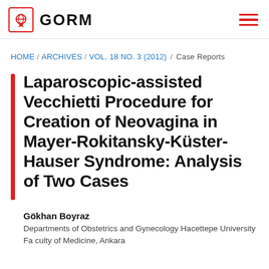GORM
HOME / ARCHIVES / VOL. 18 NO. 3 (2012) / Case Reports
Laparoscopic-assisted Vecchietti Procedure for Creation of Neovagina in Mayer-Rokitansky-Küster-Hauser Syndrome: Analysis of Two Cases
Gökhan Boyraz
Departments of Obstetrics and Gynecology Hacettepe University Fa culty of Medicine, Ankara